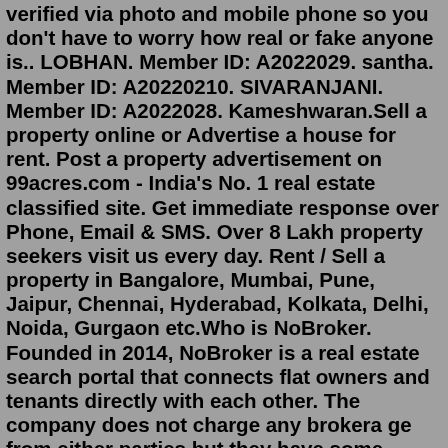verified via photo and mobile phone so you don't have to worry how real or fake anyone is.. LOBHAN. Member ID: A2022029. santha. Member ID: A20220210. SIVARANJANI. Member ID: A2022028. Kameshwaran.Sell a property online or Advertise a house for rent. Post a property advertisement on 99acres.com - India's No. 1 real estate classified site. Get immediate response over Phone, Email & SMS. Over 8 Lakh property seekers visit us every day. Rent / Sell a property in Bangalore, Mumbai, Pune, Jaipur, Chennai, Hyderabad, Kolkata, Delhi, Noida, Gurgaon etc.Who is NoBroker. Founded in 2014, NoBroker is a real estate search portal that connects flat owners and tenants directly with each other. The company does not charge any brokera ge from either parties but they have some service packages range from worth 999 to 5,999. The company is headquartered in Bengaluru, Karnataka, India.Home Appliances &amp; Furniture for Rent Appliances &amp; Furniture for Rent Super Value Packages for Rent Bed Room Furniture for Rent Dining Room